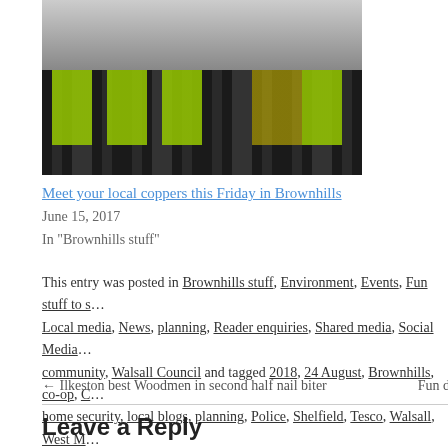[Figure (photo): Police officers in high-visibility yellow-green jackets walking with a dog on a cobbled street]
Meet your local coppers this Friday in Brownhills
June 15, 2017
In "Brownhills stuff"
This entry was posted in Brownhills stuff, Environment, Events, Fun stuff to s…, Local media, News, planning, Reader enquiries, Shared media, Social Media…, community, Walsall Council and tagged 2018, 24 August, Brownhills, co-op, C…, home security, local blogs, planning, Police, Shelfield, Tesco, Walsall, West M…
← Ilkeston best Woodmen in second half nail biter    Fun d…
Leave a Reply
Enter your comment here...